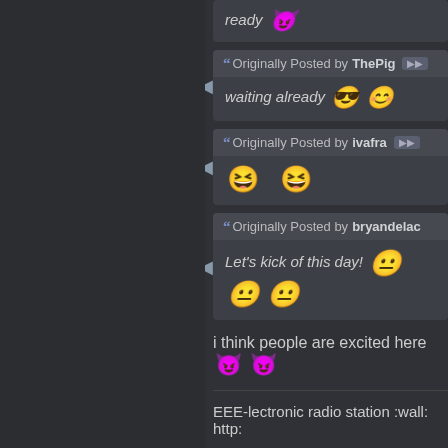ready [devil emoji]
Originally Posted by ThePig — waiting already [emoji][emoji]
Originally Posted by ivafra — [laugh emoji][laugh emoji]
Originally Posted by bryandelac — Let's kick of this day! [emoji][emoji][emoji]
i think people are excited here [emoji][emoji]
EEE-lectronic radio station :wall: http: